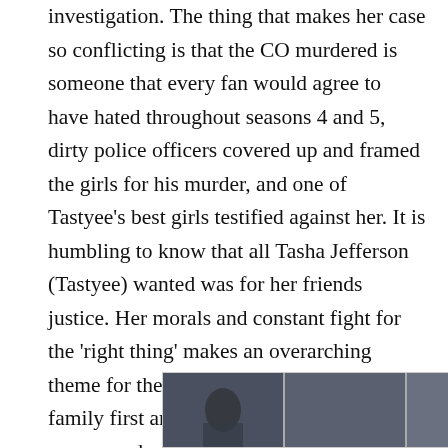investigation. The thing that makes her case so conflicting is that the CO murdered is someone that every fan would agree to have hated throughout seasons 4 and 5, dirty police officers covered up and framed the girls for his murder, and one of Tastyee's best girls testified against her. It is humbling to know that all Tasha Jefferson (Tastyee) wanted was for her friends justice. Her morals and constant fight for the 'right thing' makes an overarching theme for the entire season. It is the idea of family first and in this case betrayed by someone she considered family truly stung but proven in Darwin's theory of evolution, organisms do not behave for the good of society.
[Figure (photo): A photograph showing a person in what appears to be a correctional facility or indoor setting, partially visible at the bottom of the page.]